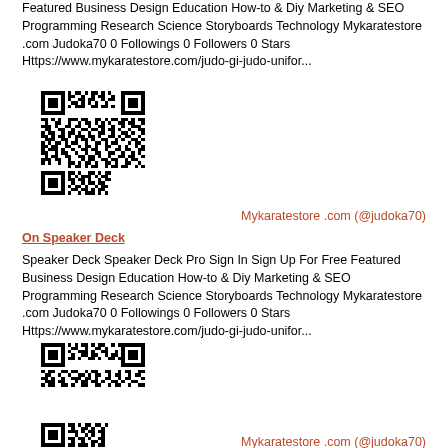Featured Business Design Education How-to & Diy Marketing & SEO Programming Research Science Storyboards Technology Mykaratestore .com Judoka70 0 Followings 0 Followers 0 Stars Https://www.mykaratestore.com/judo-gi-judo-unifor...
[Figure (other): QR code linking to mykaratestore.com Speaker Deck profile]
Mykaratestore .com (@judoka70)
On Speaker Deck
Speaker Deck Speaker Deck Pro Sign In Sign Up For Free Featured Business Design Education How-to & Diy Marketing & SEO Programming Research Science Storyboards Technology Mykaratestore .com Judoka70 0 Followings 0 Followers 0 Stars Https://www.mykaratestore.com/judo-gi-judo-unifor...
[Figure (other): QR code linking to mykaratestore.com Speaker Deck profile]
Mykaratestore .com (@judoka70)